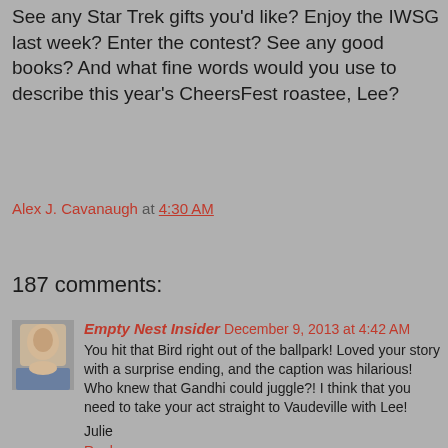See any Star Trek gifts you'd like? Enjoy the IWSG last week? Enter the contest? See any good books? And what fine words would you use to describe this year's CheersFest roastee, Lee?
Alex J. Cavanaugh at 4:30 AM
Share
187 comments:
Empty Nest Insider December 9, 2013 at 4:42 AM
You hit that Bird right out of the ballpark! Loved your story with a surprise ending, and the caption was hilarious! Who knew that Gandhi could juggle?! I think that you need to take your act straight to Vaudeville with Lee!

Julie
Reply